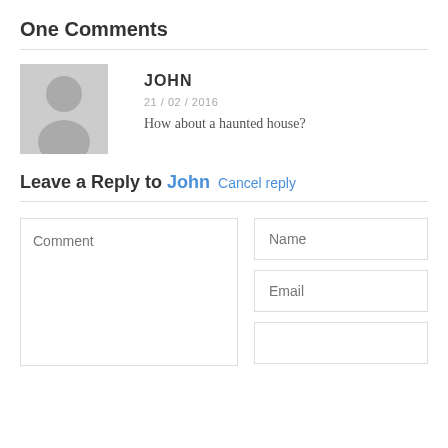One Comments
JOHN
21 / 02 / 2016
How about a haunted house?
Leave a Reply to John Cancel reply
[Figure (other): Comment text area with placeholder 'Comment']
[Figure (other): Name input field with placeholder 'Name']
[Figure (other): Email input field with placeholder 'Email']
[Figure (other): Third input field (partially visible)]